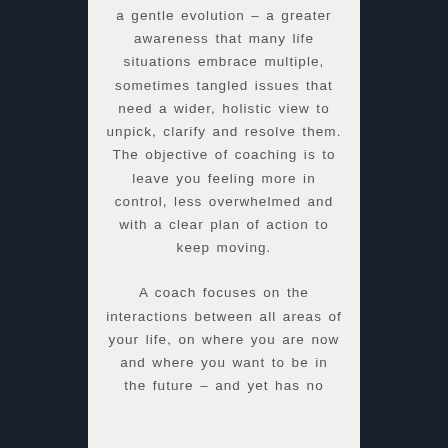a gentle evolution – a greater awareness that many life situations embrace multiple, sometimes tangled issues that need a wider, holistic view to unpick, clarify and resolve them. The objective of coaching is to leave you feeling more in control, less overwhelmed and with a clear plan of action to keep moving.
A coach focuses on the interactions between all areas of your life, on where you are now and where you want to be in the future – and yet has no